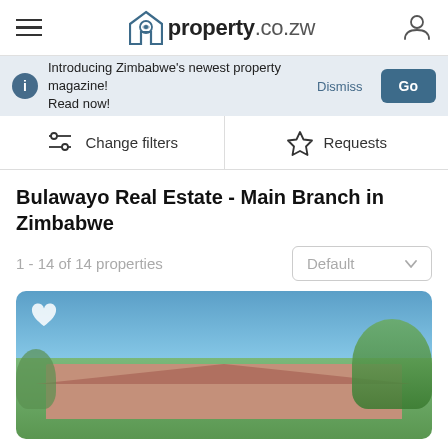property.co.zw
Introducing Zimbabwe's newest property magazine! Read now!
Change filters
Requests
Bulawayo Real Estate - Main Branch in Zimbabwe
1 - 14 of 14 properties
Default
[Figure (photo): Exterior photo of a residential house in Bulawayo with terracotta roof tiles, surrounding trees, and a clear blue sky background. A heart (favorite) icon is visible in the top-left corner.]